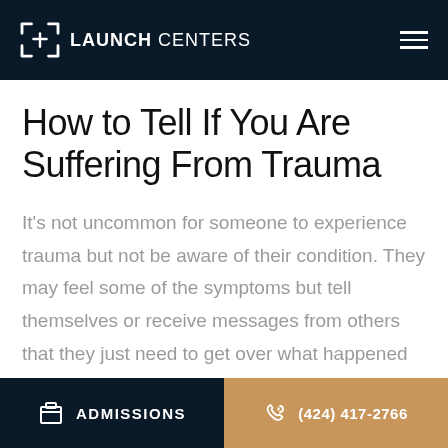LAUNCH CENTERS
How to Tell If You Are Suffering From Trauma
It's not uncommon for someone to experience trauma but not be aware of their condition. They may feel some of the symptoms but tell themselves or receive messages from others that they just need to get over what happened to them. When
ADMISSIONS  (424) 417-2766